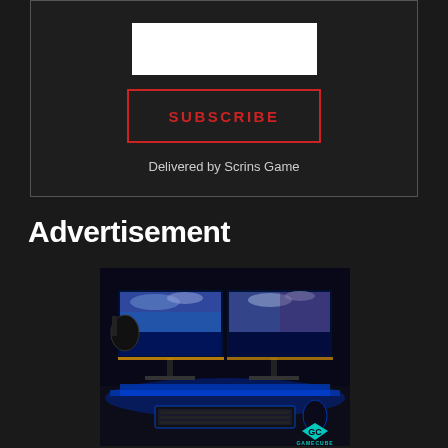[Figure (other): Subscribe box with white email input field, a red-bordered SUBSCRIBE button, and text 'Delivered by Scrins Game' on dark background with border]
Advertisement
[Figure (photo): Gaming setup with dual ultrawide monitors displaying a sky/ocean wallpaper with blue ambient lighting, keyboard, headphones, and GameCube logo watermark at bottom right showing 'GC' in teal with 'GAMECUBE' text]